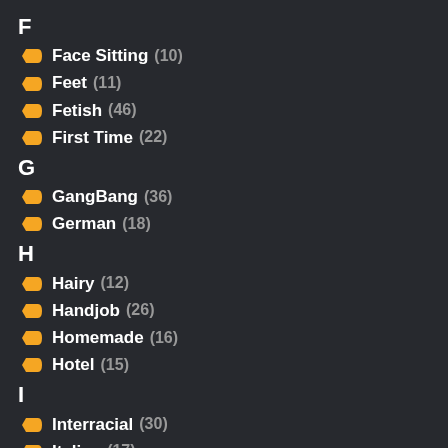F
Face Sitting (10)
Feet (11)
Fetish (46)
First Time (22)
G
GangBang (36)
German (18)
H
Hairy (12)
Handjob (26)
Homemade (16)
Hotel (15)
I
Interracial (30)
Italian (17)
J